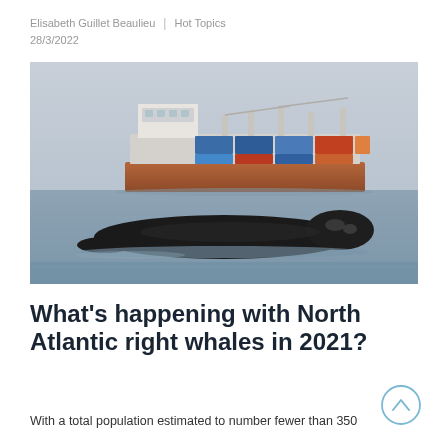Elisabeth Guillet Beaulieu  |  Hot Topics
28/3/2022
[Figure (photo): A North Atlantic right whale surfacing in the foreground with a large container ship visible in the background on calm grey water]
What's happening with North Atlantic right whales in 2021?
With a total population estimated to number fewer than 350